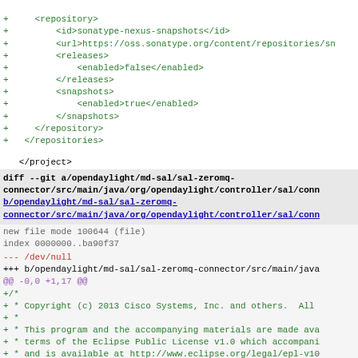+ <repository>
+ <id>sonatype-nexus-snapshots</id>
+ <url>https://oss.sonatype.org/content/repositories/sn
+ <releases>
+ <enabled>false</enabled>
+ </releases>
+ <snapshots>
+ <enabled>true</enabled>
+ </snapshots>
+ </repository>
+ </repositories>
</project>
diff --git a/opendaylight/md-sal/sal-zeromq-connector/src/main/java/org/opendaylight/controller/sal/conn b/opendaylight/md-sal/sal-zeromq-connector/src/main/java/org/opendaylight/controller/sal/conn
new file mode 100644 (file)
index 0000000..ba90f37
--- /dev/null
+++ b/opendaylight/md-sal/sal-zeromq-connector/src/main/java
@@ -0,0 +1,17 @@
+/*
+ * Copyright (c) 2013 Cisco Systems, Inc. and others.  All
+ *
+ * This program and the accompanying materials are made ava
+ * terms of the Eclipse Public License v1.0 which accompani
+ * and is available at http://www.eclipse.org/legal/epl-v10
+ */
+package org.opendaylight.controller.sal.connector.remoterpo
+